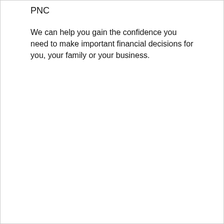PNC
We can help you gain the confidence you need to make important financial decisions for you, your family or your business.